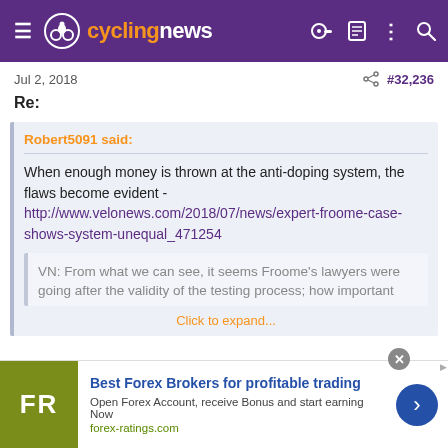cyclingnews
Jul 2, 2018   #32,236
Re:
Robert5091 said:
When enough money is thrown at the anti-doping system, the flaws become evident - http://www.velonews.com/2018/07/news/expert-froome-case-shows-system-unequal_471254
VN: From what we can see, it seems Froome's lawyers were going after the validity of the testing process; how important
Click to expand...
Best Forex Brokers for profitable trading
Open Forex Account, receive Bonus and start earning Now
forex-ratings.com